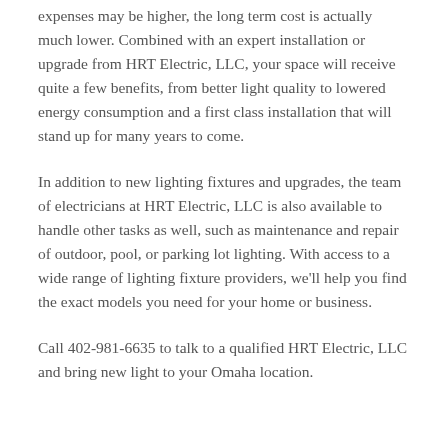expenses may be higher, the long term cost is actually much lower. Combined with an expert installation or upgrade from HRT Electric, LLC, your space will receive quite a few benefits, from better light quality to lowered energy consumption and a first class installation that will stand up for many years to come.
In addition to new lighting fixtures and upgrades, the team of electricians at HRT Electric, LLC is also available to handle other tasks as well, such as maintenance and repair of outdoor, pool, or parking lot lighting. With access to a wide range of lighting fixture providers, we'll help you find the exact models you need for your home or business.
Call 402-981-6635 to talk to a qualified HRT Electric, LLC and bring new light to your Omaha location.